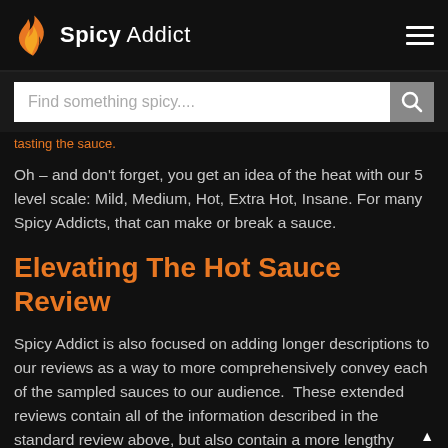Spicy Addict
Find something spicy....
tasting the sauce.
Oh – and don't forget, you get an idea of the heat with our 5 level scale: Mild, Medium, Hot, Extra Hot, Insane. For many Spicy Addicts, that can make or break a sauce.
Elevating The Hot Sauce Review
Spicy Addict is also focused on adding longer descriptions to our reviews as a way to more comprehensively convey each of the sampled sauces to our audience.  These extended reviews contain all of the information described in the standard review above, but also contain a more lengthy qualitative description of the hot sauce flavors and experience.  While they add more